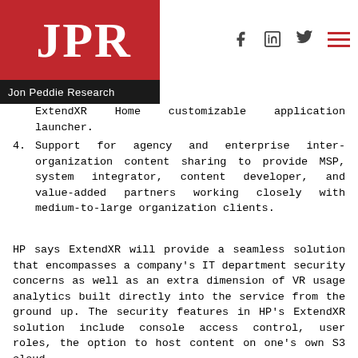JPR Jon Peddie Research
ExtendXR Home customizable application launcher.
4. Support for agency and enterprise inter-organization content sharing to provide MSP, system integrator, content developer, and value-added partners working closely with medium-to-large organization clients.
HP says ExtendXR will provide a seamless solution that encompasses a company's IT department security concerns as well as an extra dimension of VR usage analytics built directly into the service from the ground up. The security features in HP's ExtendXR solution include console access control, user roles, the option to host content on one's own S3 cloud